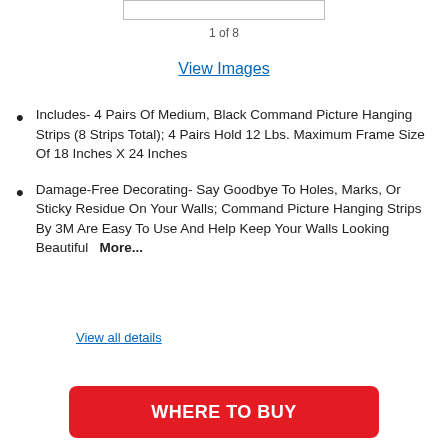[Figure (other): Product image placeholder box at top of page]
1 of 8
View Images
Includes- 4 Pairs Of Medium, Black Command Picture Hanging Strips (8 Strips Total); 4 Pairs Hold 12 Lbs. Maximum Frame Size Of 18 Inches X 24 Inches
Damage-Free Decorating- Say Goodbye To Holes, Marks, Or Sticky Residue On Your Walls; Command Picture Hanging Strips By 3M Are Easy To Use And Help Keep Your Walls Looking Beautiful  More...
View all details
WHERE TO BUY